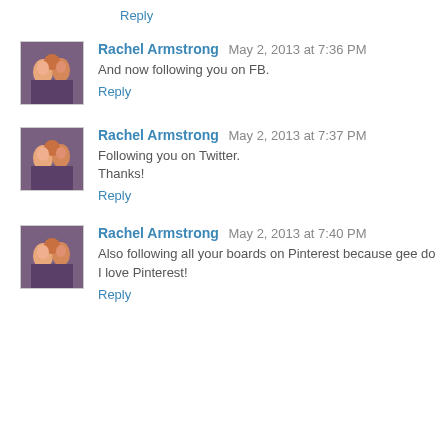Reply
Rachel Armstrong  May 2, 2013 at 7:36 PM
And now following you on FB.
Reply
Rachel Armstrong  May 2, 2013 at 7:37 PM
Following you on Twitter.
Thanks!
Reply
Rachel Armstrong  May 2, 2013 at 7:40 PM
Also following all your boards on Pinterest because gee do I love Pinterest!
Reply